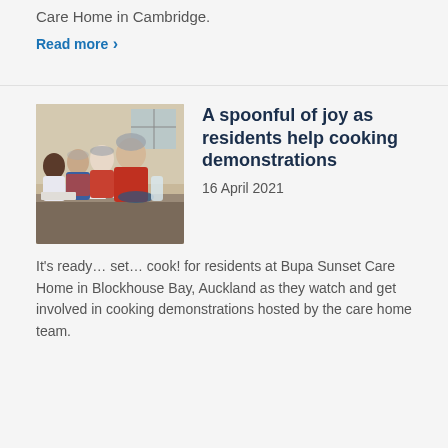Care Home in Cambridge.
Read more >
[Figure (photo): Group of people wearing red aprons and hairnets in a kitchen setting, cooking demonstration at a care home.]
A spoonful of joy as residents help cooking demonstrations
16 April 2021
It's ready… set… cook! for residents at Bupa Sunset Care Home in Blockhouse Bay, Auckland as they watch and get involved in cooking demonstrations hosted by the care home team.